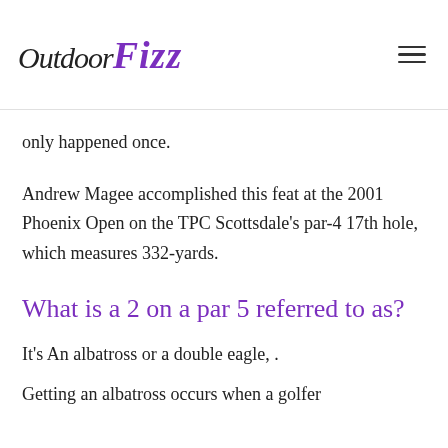OutdoorFizz
only happened once.
Andrew Magee accomplished this feat at the 2001 Phoenix Open on the TPC Scottsdale's par-4 17th hole, which measures 332-yards.
What is a 2 on a par 5 referred to as?
It's An albatross or a double eagle, .
Getting an albatross occurs when a golfer